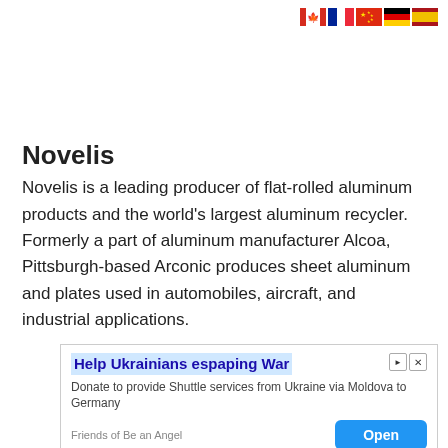[Figure (illustration): Row of country flag icons: Canada, France, China, Germany, Spain]
Novelis
Novelis is a leading producer of flat-rolled aluminum products and the world's largest aluminum recycler. Formerly a part of aluminum manufacturer Alcoa, Pittsburgh-based Arconic produces sheet aluminum and plates used in automobiles, aircraft, and industrial applications.
[Figure (screenshot): Advertisement: Help Ukrainians espaping War. Donate to provide Shuttle services from Ukraine via Moldova to Germany. Friends of Be an Angel. Open button.]